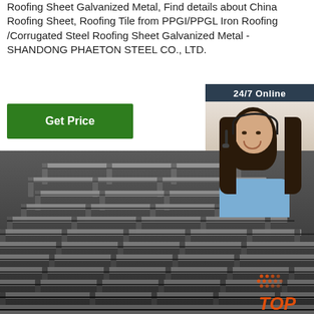Roofing Sheet Galvanized Metal, Find details about China Roofing Sheet, Roofing Tile from PPGI/PPGL Iron Roofing /Corrugated Steel Roofing Sheet Galvanized Metal - SHANDONG PHAETON STEEL CO., LTD.
[Figure (screenshot): Green 'Get Price' button]
[Figure (infographic): 24/7 Online sidebar with agent photo, 'Click here for free chat!' text, and orange QUOTATION button]
[Figure (photo): Stack of corrugated/angle steel bars piled in rows, dark grey metallic color, with a TOP badge in the bottom right]